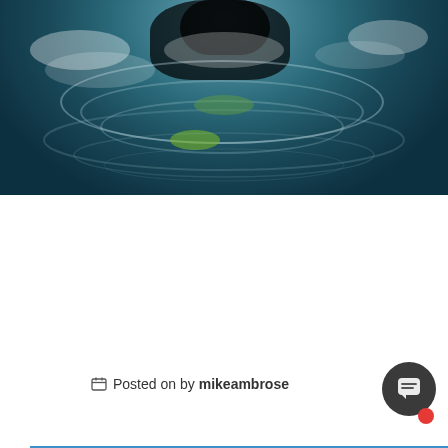[Figure (photo): Aerial view of a diver in dark wetsuit entering water, with white foam and ripples visible on the water surface, greenish-dark water beneath]
Becoming a Commercial Diver
Posted on by mikeambrose
[Figure (screenshot): Video strip at bottom with text: MIKE AMBROSSE ON HIS...]